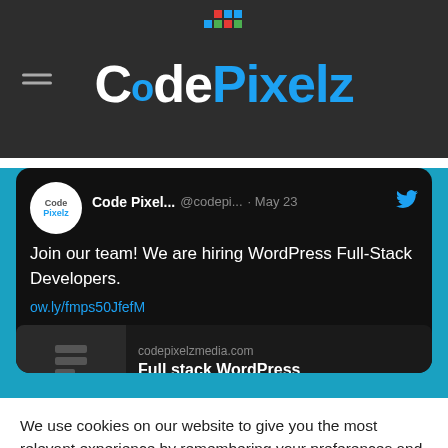CodePixelz
[Figure (screenshot): Tweet from Code Pixelz (@codepi...) dated May 23 with Twitter bird icon. Avatar shows Code Pixelz logo. Tweet text: Join our team! We are hiring WordPress Full-Stack Developers. Link: ow.ly/fmps50JfefM. Preview card shows codepixelzmedia.com and Full stack WordPress.]
We use cookies on our website to give you the most relevant experience by remembering your preferences and repeat visits. By clicking "Accept All", you consent to the use of ALL the cookies. However, you may visit "Cookie Settings" to provide a controlled consent.
Cookie Settings
Accept All